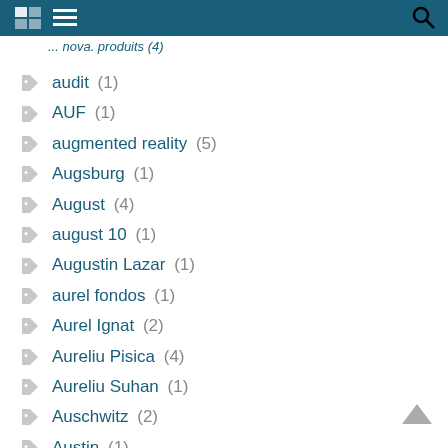audit (1)
AUF (1)
augmented reality (5)
Augsburg (1)
August (4)
august 10 (1)
Augustin Lazar (1)
aurel fondos (1)
Aurel Ignat (2)
Aureliu Pisica (4)
Aureliu Suhan (1)
Auschwitz (2)
Austin (1)
Australia (85)